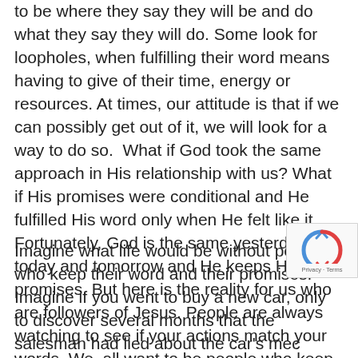to be where they say they will be and do what they say they will do. Some look for loopholes, when fulfilling their word means having to give of their time, energy or resources. At times, our attitude is that if we can possibly get out of it, we will look for a way to do so.  What if God took the same approach in His relationship with us? What if His promises were conditional and He fulfilled His word only when He felt like it.  Fortunately, God is the same yesterday, today and tomorrow and He keeps His promises. But here is the reality for us who are followers of Jesus. People are always watching to see if your actions match your words. We  all want to be people who keep our promises.
Imagine what life would be without people who keep their word and their promises. Imagine if you went to buy a new car, only to discover several months that the salesman had lied about the car's mec history. Imagine if you went to buy a new hom